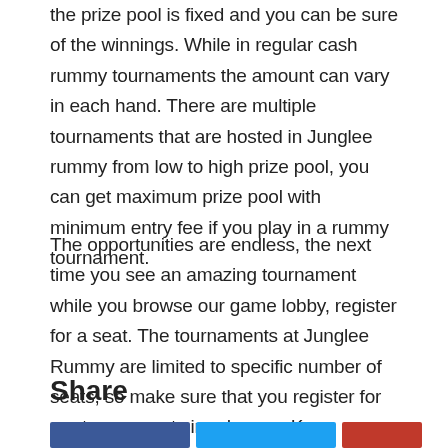the prize pool is fixed and you can be sure of the winnings. While in regular cash rummy tournaments the amount can vary in each hand. There are multiple tournaments that are hosted in Junglee rummy from low to high prize pool, you can get maximum prize pool with minimum entry fee if you play in a rummy tournament.
The opportunities are endless, the next time you see an amazing tournament while you browse our game lobby, register for a seat. The tournaments at Junglee Rummy are limited to specific number of seats, so make sure that you register for our tournaments in advance. Keep playing!
Share